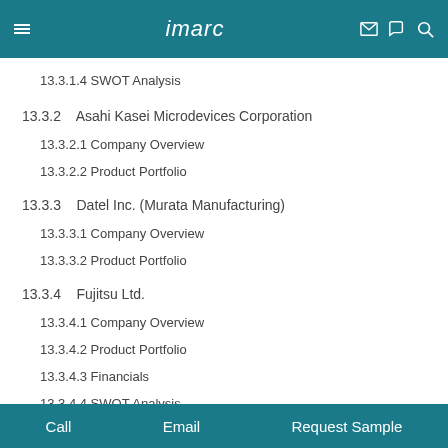imarc
13.3.1.4 SWOT Analysis
13.3.2    Asahi Kasei Microdevices Corporation
13.3.2.1 Company Overview
13.3.2.2 Product Portfolio
13.3.3    Datel Inc. (Murata Manufacturing)
13.3.3.1 Company Overview
13.3.3.2 Product Portfolio
13.3.4    Fujitsu Ltd.
13.3.4.1 Company Overview
13.3.4.2 Product Portfolio
13.3.4.3 Financials
13.3.4.4 SWOT Analysis
Call   Email   Request Sample